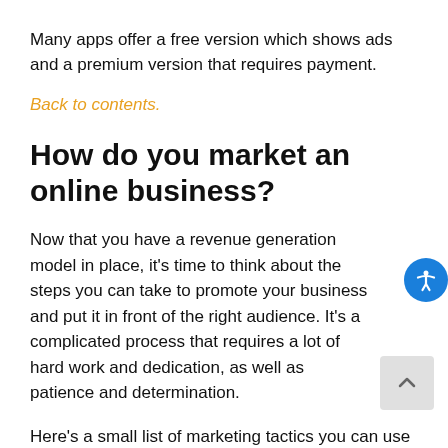Many apps offer a free version which shows ads and a premium version that requires payment.
Back to contents.
How do you market an online business?
Now that you have a revenue generation model in place, it's time to think about the steps you can take to promote your business and put it in front of the right audience. It's a complicated process that requires a lot of hard work and dedication, as well as patience and determination.
Here's a small list of marketing tactics you can use for inspiration: